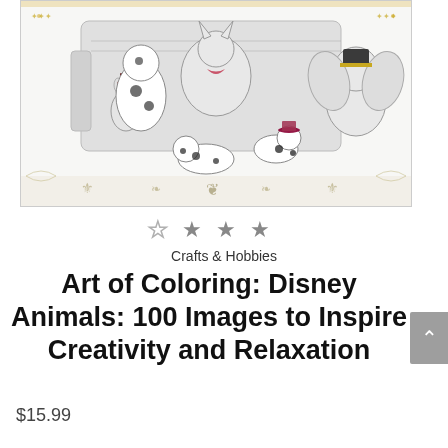[Figure (illustration): Book cover of 'Art of Coloring: Disney Animals' showing black and white coloring page artwork with various Disney animal characters including dalmatian puppies, Dumbo the elephant, and other characters grouped together on an ornate couch/chair, with decorative borders at bottom. Small color accents in red, gold, and dark green.]
[Figure (other): Star rating display showing approximately 2.5 out of 5 stars, with first star outline/empty, second and third filled gray, fourth filled gray, rendered as star symbols]
Crafts & Hobbies
Art of Coloring: Disney Animals: 100 Images to Inspire Creativity and Relaxation
$15.99